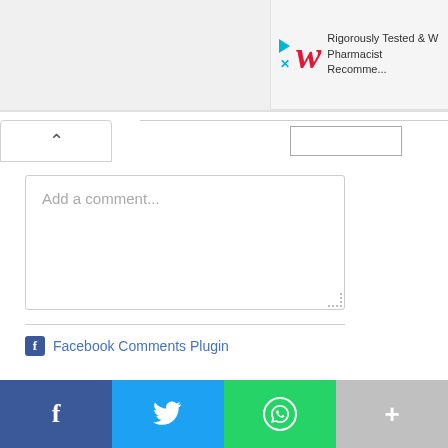[Figure (screenshot): Advertisement banner for Walgreens showing logo with stylized red italic W, play and X icons in cyan, and text 'Rigorously Tested & W... Pharmacist Recomme...']
[Figure (screenshot): Web UI showing a collapse/expand chevron button (^) and a tab bar with a rectangular input box]
Add a comment...
Facebook Comments Plugin
[Figure (screenshot): Share bar at bottom with four buttons: Facebook (blue, f icon), Twitter (cyan, bird icon), WhatsApp (green, phone icon), More (gray, + icon)]